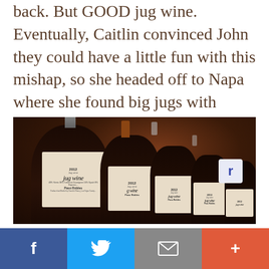back. But GOOD jug wine.  Eventually, Caitlin convinced John they could have a little fun with this mishap, so she headed off to Napa where she found big jugs with screw caps — "A throwback to old Italian table wine."
[Figure (photo): Photo of multiple large dark glass jug wine bottles lined up, each with cream-colored labels reading '2012 Jug wine' in script lettering, with 'Paso Robles' printed below. Bottles have screw caps and glass stoppers, warm dark background.]
[Figure (infographic): Social sharing bar with four buttons: Facebook (blue, f icon), Twitter (light blue, bird icon), Email (gray, envelope icon), and Add/More (red-orange, plus icon)]